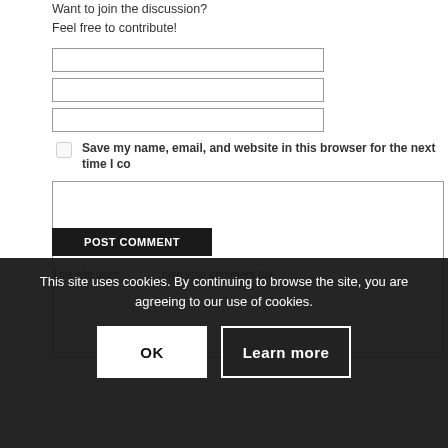Want to join the discussion?
Feel free to contribute!
Name *
Email *
Website
Save my name, email, and website in this browser for the next time I co
This site uses cookies. By continuing to browse the site, you are agreeing to our use of cookies.
OK
Learn more
This site uses ... how your comment dat